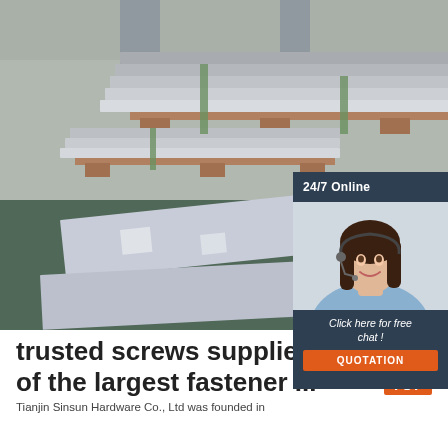[Figure (photo): Factory warehouse photo showing stacked large metal/aluminum sheets on pallets in an industrial setting with concrete floor]
[Figure (photo): Customer service representative woman with headset smiling, overlaid on dark blue panel with '24/7 Online' text, 'Click here for free chat!' text and orange QUOTATION button]
trusted screws supplier One of the largest fastener ...
Tianjin Sinsun Hardware Co., Ltd was founded in